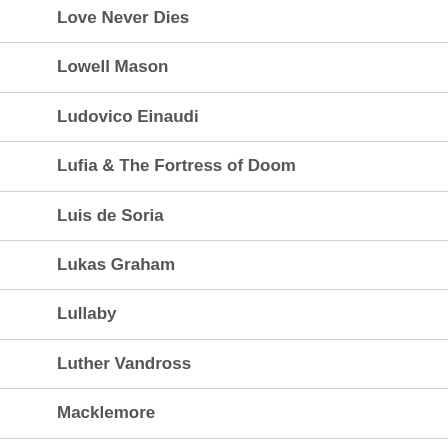Love Never Dies
Lowell Mason
Ludovico Einaudi
Lufia & The Fortress of Doom
Luis de Soria
Lukas Graham
Lullaby
Luther Vandross
Macklemore
Madonna
Magical Starsign
Mamas And The Papas